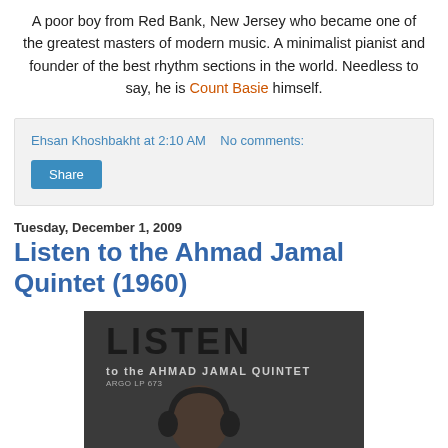A poor boy from Red Bank, New Jersey who became one of the greatest masters of modern music. A minimalist pianist and founder of the best rhythm sections in the world. Needless to say, he is Count Basie himself.
Ehsan Khoshbakht at 2:10 AM   No comments:
Share
Tuesday, December 1, 2009
Listen to the Ahmad Jamal Quintet (1960)
[Figure (photo): Album cover of 'Listen to the Ahmad Jamal Quintet' showing bold text LISTEN at top, subtitle 'to the AHMAD JAMAL QUINTET', Argo LP 673, and silhouette of a head with headphones against dark background]